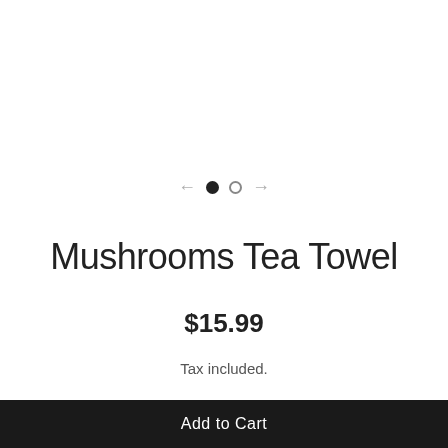[Figure (other): Carousel navigation with left arrow, filled dot, empty dot, and right arrow]
Mushrooms Tea Towel
$15.99
Tax included.
Add to Cart